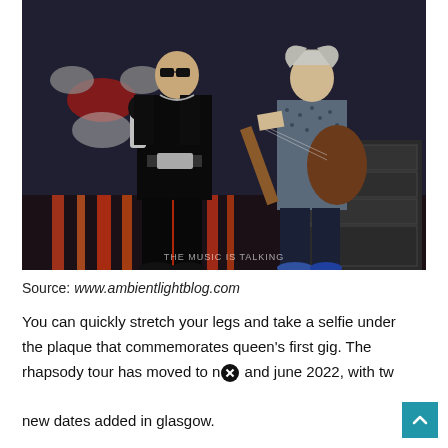[Figure (photo): Two musicians performing on stage: a singer in black with sunglasses and a guitarist in a patterned shirt, with drum kit and stage lighting visible in background. Watermark reads 'THE MUSIC IS TALKING'.]
Source: www.ambientlightblog.com
You can quickly stretch your legs and take a selfie under the plaque that commemorates queen's first gig. The rhapsody tour has moved to n[x] and june 2022, with two new dates added in glasgow.